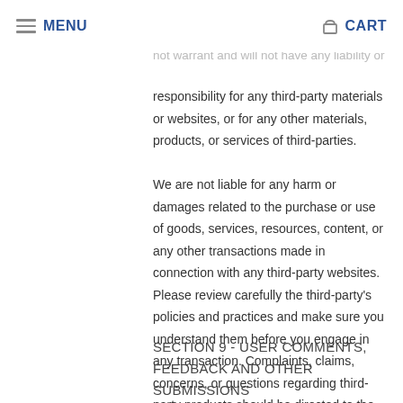MENU | CART
evaluating the content or accuracy and we do not warrant and will not have any liability or responsibility for any third-party materials or websites, or for any other materials, products, or services of third-parties.
We are not liable for any harm or damages related to the purchase or use of goods, services, resources, content, or any other transactions made in connection with any third-party websites. Please review carefully the third-party's policies and practices and make sure you understand them before you engage in any transaction. Complaints, claims, concerns, or questions regarding third-party products should be directed to the third-party.
SECTION 9 - USER COMMENTS, FEEDBACK AND OTHER SUBMISSIONS